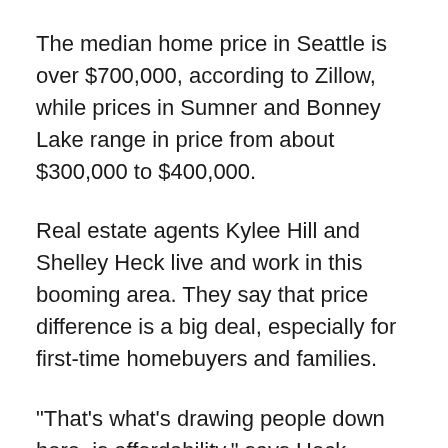The median home price in Seattle is over $700,000, according to Zillow, while prices in Sumner and Bonney Lake range in price from about $300,000 to $400,000.
Real estate agents Kylee Hill and Shelley Heck live and work in this booming area. They say that price difference is a big deal, especially for first-time homebuyers and families.
"That's what's drawing people down here, is affordability," says Heck. "People are willing to make the commute in order to to get more home."
But Hill says it's not just cost that's driving people to the area. It's also livability and lifestyle.